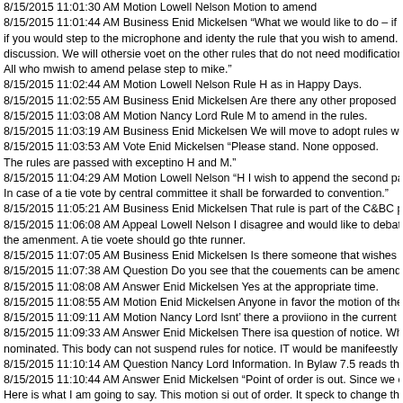8/15/2015 11:01:30 AM Motion Lowell Nelson Motion to amend
8/15/2015 11:01:44 AM Business Enid Mickelsen “What we would like to do – if a if you would step to the microphone and identy the rule that you wish to amend. W discussion. We will othersie voet on the other rules that do not need modification. All who mwish to amend pelase step to mike.”
8/15/2015 11:02:44 AM Motion Lowell Nelson Rule H as in Happy Days.
8/15/2015 11:02:55 AM Business Enid Mickelsen Are there any other proposed a
8/15/2015 11:03:08 AM Motion Nancy Lord Rule M to amend in the rules.
8/15/2015 11:03:19 AM Business Enid Mickelsen We will move to adopt rules wit
8/15/2015 11:03:53 AM Vote Enid Mickelsen “Please stand. None opposed. The rules are passed with exceptino H and M.”
8/15/2015 11:04:29 AM Motion Lowell Nelson “H I wish to append the second pa In case of a tie vote by central committee it shall be forwarded to convention.”
8/15/2015 11:05:21 AM Business Enid Mickelsen That rule is part of the C&BC p
8/15/2015 11:06:08 AM Appeal Lowell Nelson I disagree and would like to debate the amenment. A tie voete should go thte runner.
8/15/2015 11:07:05 AM Business Enid Mickelsen Is there someone that wishes to
8/15/2015 11:07:38 AM Question Do you see that the couements can be amende
8/15/2015 11:08:08 AM Answer Enid Mickelsen Yes at the appropriate time.
8/15/2015 11:08:55 AM Motion Enid Mickelsen Anyone in favor the motion of the
8/15/2015 11:09:11 AM Motion Nancy Lord Isnt’ there a proviiono in the current r
8/15/2015 11:09:33 AM Answer Enid Mickelsen There isa question of notice. Whe nominated. This body can not suspend rules for notice. IT would be manifeestly u
8/15/2015 11:10:14 AM Question Nancy Lord Information. In Bylaw 7.5 reads tha
8/15/2015 11:10:44 AM Answer Enid Mickelsen “Point of order is out. Since we c Here is what I am going to say. This motion si out of order. It speck to change th